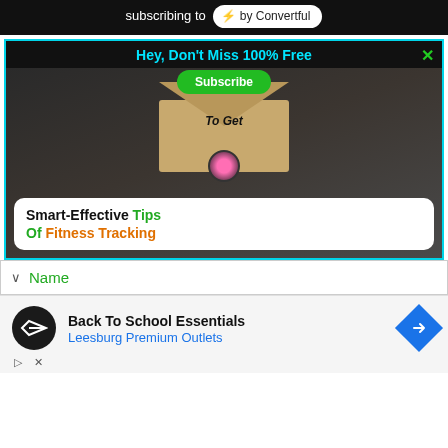subscribing to ⚡ by Convertful
[Figure (screenshot): Popup ad banner with black background and cyan border. Header reads 'Hey, Don't Miss 100% Free' in cyan. Contains an envelope image with a green 'Subscribe' button and 'To Get' text, with caption 'Smart-Effective Tips Of Fitness Tracking' in a white rounded box.]
Name
[Figure (infographic): Advertisement for 'Back To School Essentials' by Leesburg Premium Outlets with a circular logo and blue diamond navigation icon.]